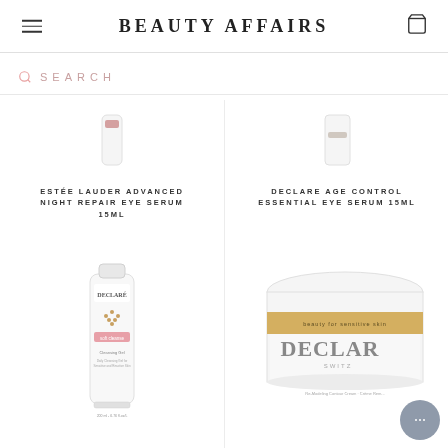BEAUTY AFFAIRS
SEARCH
[Figure (photo): Estée Lauder Advanced Night Repair Eye Serum 15ml product photo (partially visible, cropped)]
ESTÉE LAUDER ADVANCED NIGHT REPAIR EYE SERUM 15ML
[Figure (photo): Declaré Age Control Essential Eye Serum 15ml product photo (partially visible, cropped)]
DECLARE AGE CONTROL ESSENTIAL EYE SERUM 15ML
[Figure (photo): Declaré Skin Care Cleansing Gel 200ml product tube photo]
[Figure (photo): Declaré Multi Lift Re-Modeling Contour Cream jar product photo]